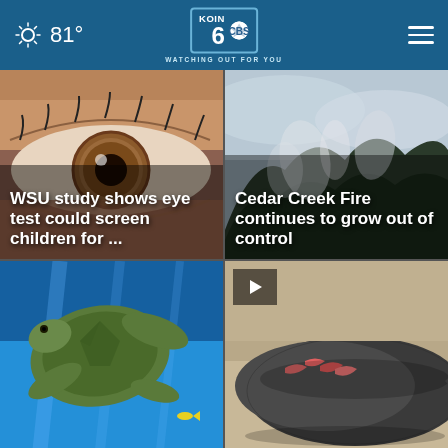81° KOIN 6 CBS WATCHING OUT FOR YOU
[Figure (photo): Close-up of a brown human eye with headline overlay: WSU study shows eye test could screen children for ...]
[Figure (photo): Misty forested mountains with smoke, headline overlay: Cedar Creek Fire continues to grow out of control]
[Figure (photo): Sea turtle underwater in blue water]
[Figure (photo): Beached whale or large marine animal with injuries, with video play button overlay]